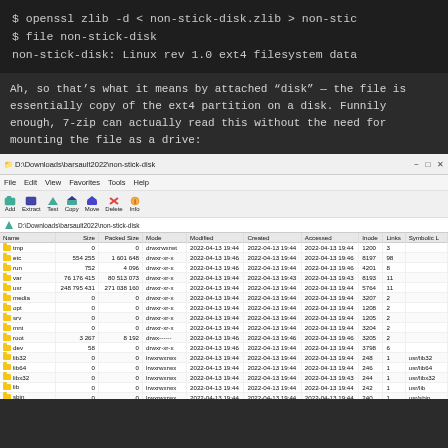$ openssl zlib -d < non-stick-disk.zlib > non-stic
$ file non-stick-disk
non-stick-disk: Linux rev 1.0 ext4 filesystem data
Ah, so that’s what it means by attached “disk” — the file is essentially copy of the ext4 partition on a disk. Funnily enough, 7-zip can actually read this without the need for mounting the file as a drive:
[Figure (screenshot): 7-Zip file manager window showing contents of non-stick-disk file, displaying folder listing with columns: Name, Size, Packed Size, Mode, Modified, Created, Accessed, Inode, Links, Symbolic Link]